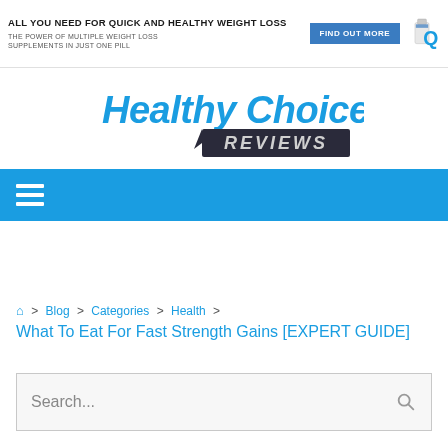[Figure (infographic): Advertisement banner: ALL YOU NEED FOR QUICK AND HEALTHY WEIGHT LOSS. THE POWER OF MULTIPLE WEIGHT LOSS SUPPLEMENTS IN JUST ONE PILL. FIND OUT MORE button. Supplement bottle and Q logo.]
[Figure (logo): Healthy Choice Reviews logo in blue italic text with REVIEWS in dark banner]
[Figure (infographic): Blue navigation bar with white hamburger menu icon (three horizontal lines)]
🏠 > Blog > Categories > Health >
What To Eat For Fast Strength Gains [EXPERT GUIDE]
Search...